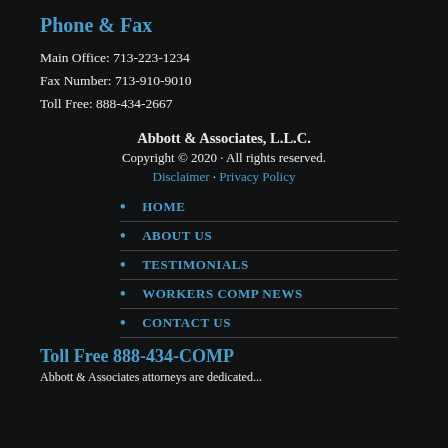Phone & Fax
Main Office: 713-223-1234
Fax Number: 713-910-9010
Toll Free: 888-434-2667
Abbott & Associates, L.L.C.
Copyright © 2020 · All rights reserved.
Disclaimer · Privacy Policy
HOME
ABOUT US
TESTIMONIALS
WORKERS COMP NEWS
CONTACT US
Toll Free 888-434-COMP
Abbott & Associates attorneys are dedicated…